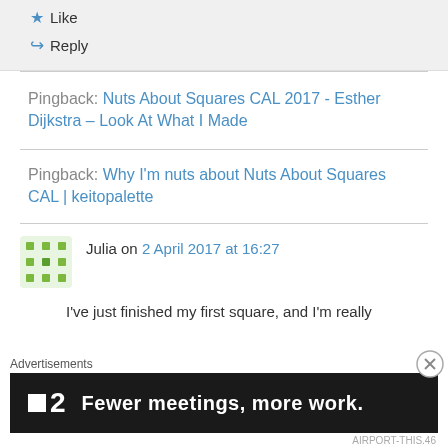Like
Reply
Pingback: Nuts About Squares CAL 2017 - Esther Dijkstra – Look At What I Made
Pingback: Why I'm nuts about Nuts About Squares CAL | keitopalette
Julia on 2 April 2017 at 16:27
I've just finished my first square, and I'm really
Advertisements
[Figure (screenshot): Advertisement banner: P2 logo with text 'Fewer meetings, more work.' on dark background]